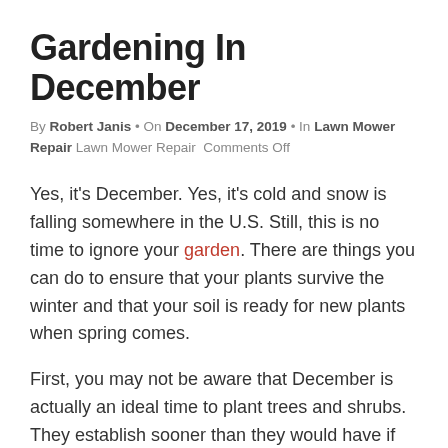Gardening In December
By Robert Janis • On December 17, 2019 • In Lawn Mower Repair Lawn Mower Repair  Comments Off
Yes, it's December. Yes, it's cold and snow is falling somewhere in the U.S. Still, this is no time to ignore your garden. There are things you can do to ensure that your plants survive the winter and that your soil is ready for new plants when spring comes.
First, you may not be aware that December is actually an ideal time to plant trees and shrubs. They establish sooner than they would have if planted in late spring and summer.
December is also a good time to start to prepare your soil